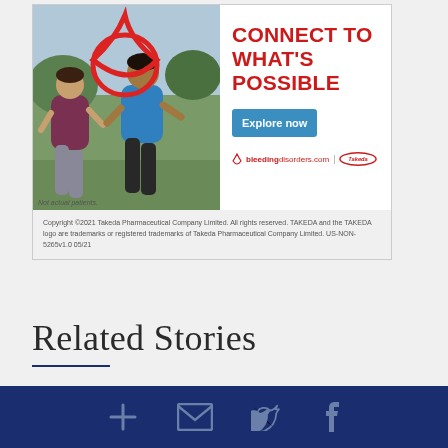[Figure (illustration): Takeda pharmaceutical advertisement showing two people jogging with a blood drop icon overlay, red text 'CONNECT TO WHAT'S POSSIBLE', a blue 'Explore now' button, bleedingdisorders.com and Takeda logos]
Not actual patients.
Copyright ©2021 Takeda Pharmaceutical Company Limited. All rights reserved. TAKEDA and the TAKEDA logo are trademarks or registered trademarks of Takeda Pharmaceutical Company Limited. US-NON-5265v1.0 05/21
Related Stories
Study Focuses on the Hemophilia B Community
+ ✉ 🐦 f